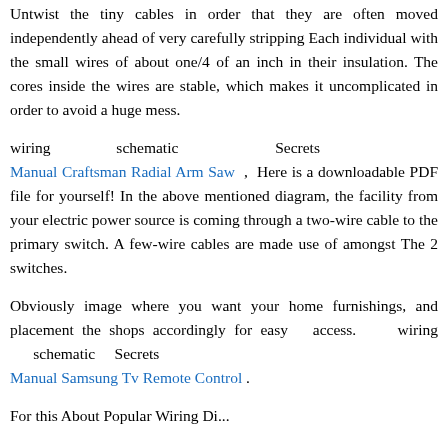Untwist the tiny cables in order that they are often moved independently ahead of very carefully stripping Each individual with the small wires of about one/4 of an inch in their insulation. The cores inside the wires are stable, which makes it uncomplicated in order to avoid a huge mess.
wiring schematic Secrets Manual Craftsman Radial Arm Saw , Here is a downloadable PDF file for yourself! In the above mentioned diagram, the facility from your electric power source is coming through a two-wire cable to the primary switch. A few-wire cables are made use of amongst The 2 switches.
Obviously image where you want your home furnishings, and placement the shops accordingly for easy access. wiring schematic Secrets Manual Samsung Tv Remote Control .
For this About Popular Wiring Di...